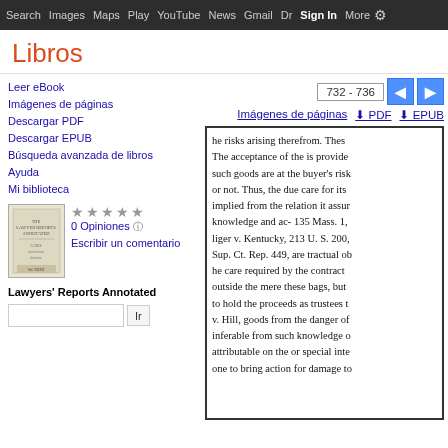Search  Images  Maps  Play  YouTube  News  Gmail  Dr  Sign In  More
Libros
Leer eBook
Imágenes de páginas
Descargar PDF
Descargar EPUB
Búsqueda avanzada de libros
Ayuda
Mi biblioteca
0 Opiniones
Escribir un comentario
Lawyers' Reports Annotated
732 - 736
Imágenes de páginas  PDF  EPUB
he risks arising therefrom. Thes The acceptance of the is provide such goods are at the buyer's risk or not. Thus, the due care for its implied from the relation it assur knowledge and ac- 135 Mass. 1, liger v. Kentucky, 213 U. S. 200, Sup. Ct. Rep. 449, are tractual ob he care required by the contract outside the mere these bags, but to hold the proceeds as trustees t v. Hill, goods from the danger of inferable from such knowledge o attributable on the or special inte one to bring action for damage to